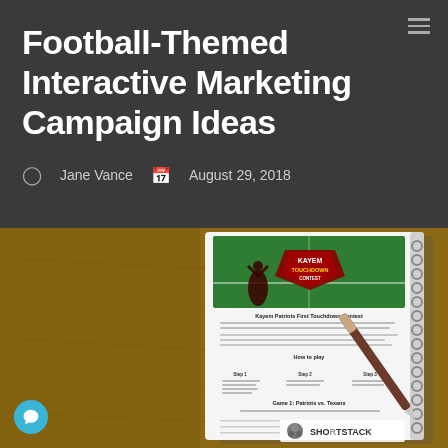Football-Themed Interactive Marketing Campaign Ideas
Jane Vance   August 29, 2018
[Figure (photo): A spiral-bound notebook open on a wooden desk showing a Kayem Patriots First Touchdown Contest promotional page with football field imagery and contest steps, next to a pen. ShortStack logo visible in bottom right.]